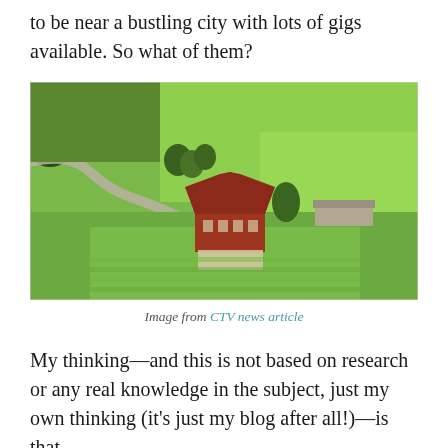to be near a bustling city with lots of gigs available. So what of them?
[Figure (photo): Aerial drone photo of a red farmhouse surrounded by green fields and lawn, with a winding driveway, trees, and a barn or trailer structure to the right.]
Image from CTV news article
My thinking—and this is not based on research or any real knowledge in the subject, just my own thinking (it's just my blog after all!)—is that